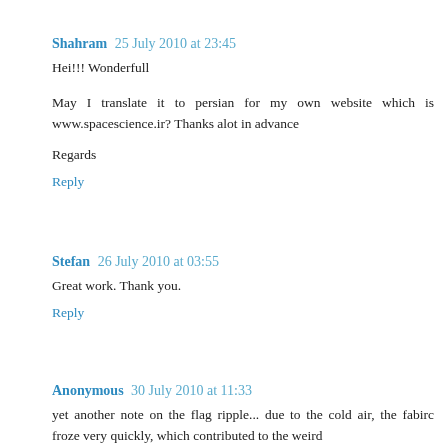Shahram  25 July 2010 at 23:45
Hei!!! Wonderfull
May I translate it to persian for my own website which is www.spacescience.ir? Thanks alot in advance
Regards
Reply
Stefan  26 July 2010 at 03:55
Great work. Thank you.
Reply
Anonymous  30 July 2010 at 11:33
yet another note on the flag ripple... due to the cold air, the fabirc froze very quickly, which contributed to the weird